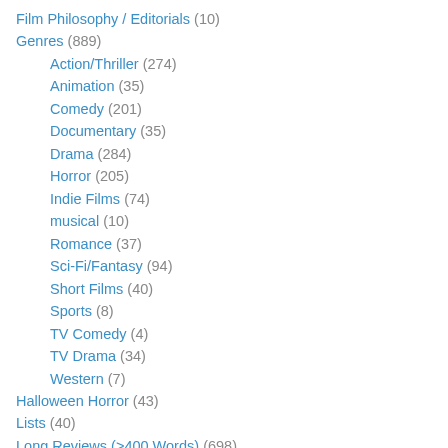Film Philosophy / Editorials (10)
Genres (889)
Action/Thriller (274)
Animation (35)
Comedy (201)
Documentary (35)
Drama (284)
Horror (205)
Indie Films (74)
musical (10)
Romance (37)
Sci-Fi/Fantasy (94)
Short Films (40)
Sports (8)
TV Comedy (4)
TV Drama (34)
Western (7)
Halloween Horror (43)
Lists (40)
Long Reviews (>400 Words) (698)